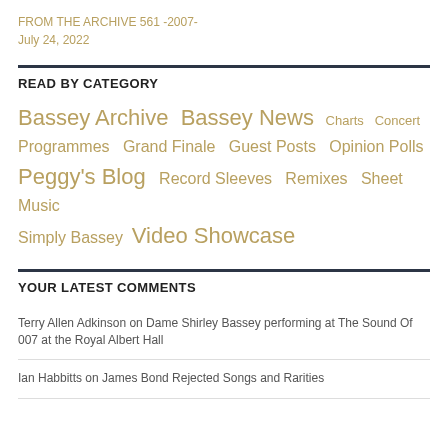FROM THE ARCHIVE 561 -2007-
July 24, 2022
READ BY CATEGORY
Bassey Archive  Bassey News  Charts  Concert Programmes  Grand Finale  Guest Posts  Opinion Polls  Peggy's Blog  Record Sleeves  Remixes  Sheet Music  Simply Bassey  Video Showcase
YOUR LATEST COMMENTS
Terry Allen Adkinson on Dame Shirley Bassey performing at The Sound Of 007 at the Royal Albert Hall
Ian Habbitts on James Bond Rejected Songs and Rarities